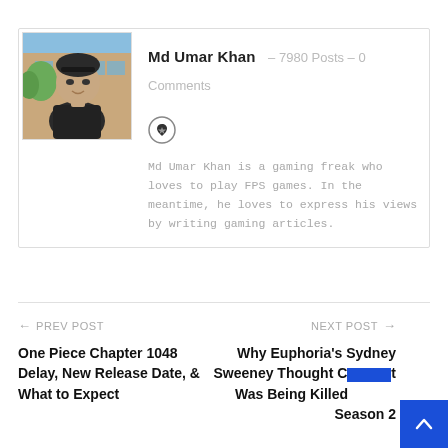[Figure (photo): Profile photo of Md Umar Khan, a young man in dark jacket in front of a building]
Md Umar Khan – 7980 Posts – 0 Comments
[Figure (logo): Small circular icon with a heart/bookmark symbol]
Md Umar Khan is a gaming freak who loves to play FPS games. In the meantime, he loves to express his views by writing gaming articles.
← PREV POST
One Piece Chapter 1048 Delay, New Release Date, & What to Expect
NEXT POST →
Why Euphoria's Sydney Sweeney Thought Cast Was Being Killed In Season 2